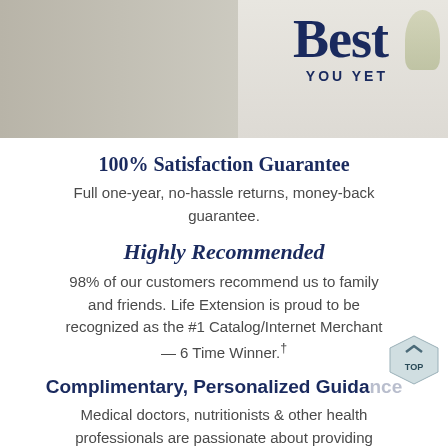[Figure (photo): Banner photo of a ballet dancer in a white dress spinning, text overlay reading 'Best YOU YET' in dark navy blue. Light gray/beige background with plant decoration on right.]
100% Satisfaction Guarantee
Full one-year, no-hassle returns, money-back guarantee.
Highly Recommended
98% of our customers recommend us to family and friends. Life Extension is proud to be recognized as the #1 Catalog/Internet Merchant — 6 Time Winner.†
Complimentary, Personalized Guidance
Medical doctors, nutritionists & other health professionals are passionate about providing personalized solutions to help you achieve